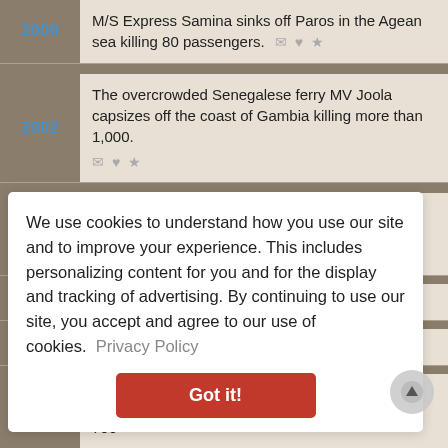2000 — M/S Express Samina sinks off Paros in the Agean sea killing 80 passengers.
2002 — The overcrowded Senegalese ferry MV Joola capsizes off the coast of Gambia killing more than 1,000.
2006 — Martin Scorsese's "The Departed", starring Leonardo DiCaprio, Matt Damon, and Mark Wahlberg, premieres…
We use cookies to understand how you use our site and to improve your experience. This includes personalizing content for you and for the display and tracking of advertising. By continuing to use our site, you accept and agree to our use of cookies. Privacy Policy
Got it!
2009 — Vietnam, Cambodia, Laos and Thailand, causing 700